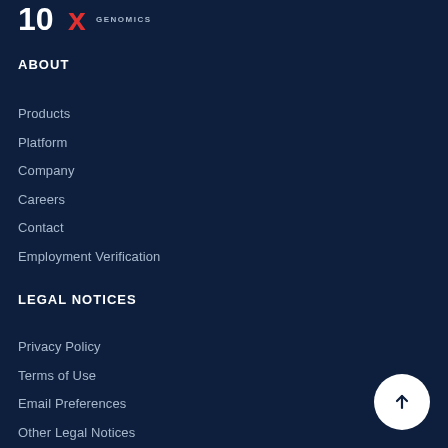[Figure (logo): 10x Genomics logo — '10x' in white and red/blue stylized text with 'GENOMICS' in small caps]
ABOUT
Products
Platform
Company
Careers
Contact
Employment Verification
LEGAL NOTICES
Privacy Policy
Terms of Use
Email Preferences
Other Legal Notices